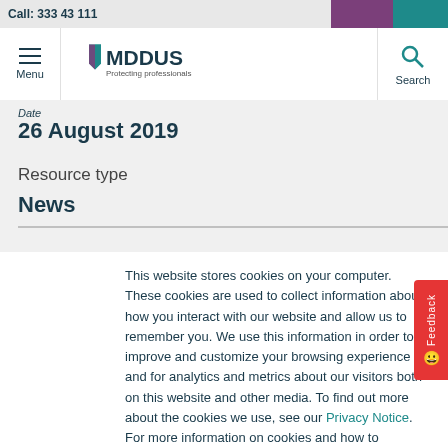MDDUS - Protecting professionals | Menu | Search
Date
26 August 2019
Resource type
News
This website stores cookies on your computer. These cookies are used to collect information about how you interact with our website and allow us to remember you. We use this information in order to improve and customize your browsing experience and for analytics and metrics about our visitors both on this website and other media. To find out more about the cookies we use, see our Privacy Notice. For more information on cookies and how to manage, delete and disable them please visit https://www.allaboutcookies.org/